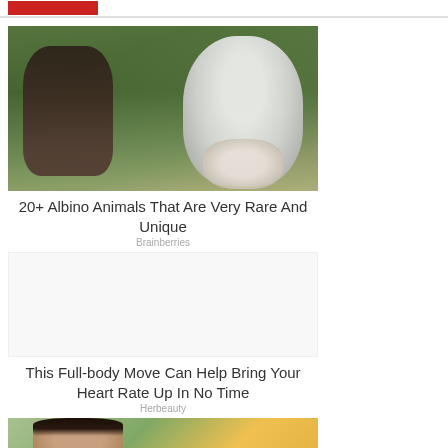[Figure (photo): A child and an albino monkey in a green grassy outdoor setting]
20+ Albino Animals That Are Very Rare And Unique
Brainberries
This Full-body Move Can Help Bring Your Heart Rate Up In No Time
Herbeauty
[Figure (photo): Close-up portrait of a woman with dark hair against a yellow background]